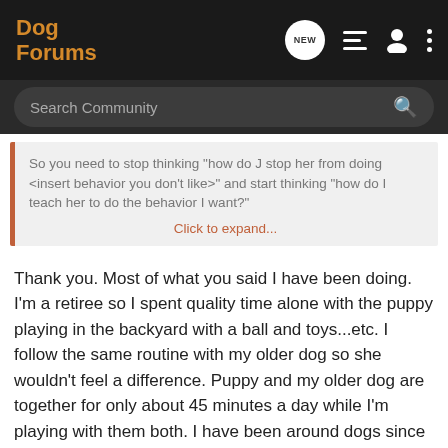Dog Forums
So you need to stop thinking "how do J stop her from doing <insert behavior you don't like>" and start thinking "how do I teach her to do the behavior I want?" Click to expand...
Thank you. Most of what you said I have been doing. I'm a retiree so I spent quality time alone with the puppy playing in the backyard with a ball and toys...etc. I follow the same routine with my older dog so she wouldn't feel a difference. Puppy and my older dog are together for only about 45 minutes a day while I'm playing with them both. I have been around dogs since I was a kid. I mean I raised a Rottweiler, a Chow and a German Shepherd. At that time I was working, so I didn't spend as much time with those puppies as I'm with this puppy. I have a big backyard, she runs/plays a lot. The funny thing is she's not